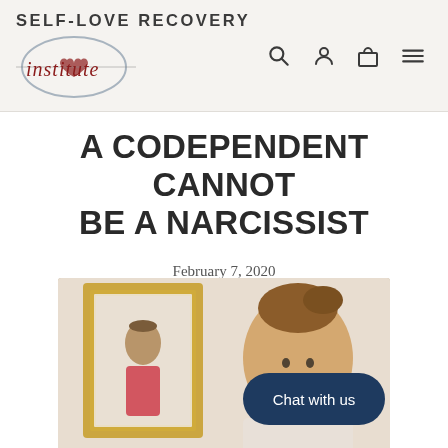[Figure (logo): Self-Love Recovery Institute logo with circular emblem containing a heart, text 'SELF-LOVE RECOVERY' above and script 'institute' across the circle]
A CODEPENDENT CANNOT BE A NARCISSIST
February 7, 2020
[Figure (photo): Woman with vintage pin-up style hair looking into an ornate gold-framed mirror, with a 'Chat with us' button overlay in dark navy blue rounded rectangle]
Chat with us